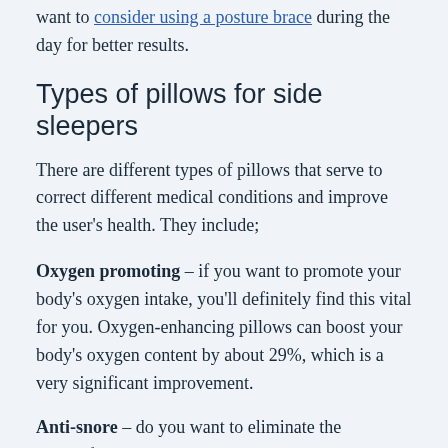want to consider using a posture brace during the day for better results.
Types of pillows for side sleepers
There are different types of pillows that serve to correct different medical conditions and improve the user's health. They include;
Oxygen promoting – if you want to promote your body's oxygen intake, you'll definitely find this vital for you. Oxygen-enhancing pillows can boost your body's oxygen content by about 29%, which is a very significant improvement.
Anti-snore – do you want to eliminate the discomfort that comes with snoring people around